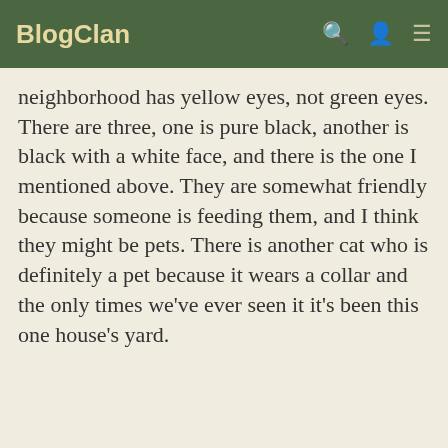BlogClan
neighborhood has yellow eyes, not green eyes. There are three, one is pure black, another is black with a white face, and there is the one I mentioned above. They are somewhat friendly because someone is feeding them, and I think they might be pets. There is another cat who is definitely a pet because it wears a collar and the only times we've ever seen it it's been this one house's yard.
We use cookies to optimize our website and our service.
All cookies
Functional only